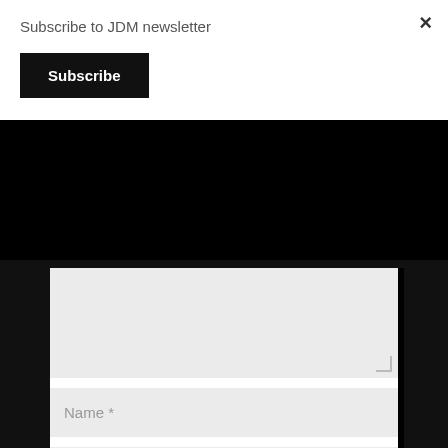Subscribe to JDM newsletter
×
Subscribe
Name *
Email *
Website
Submit Comment